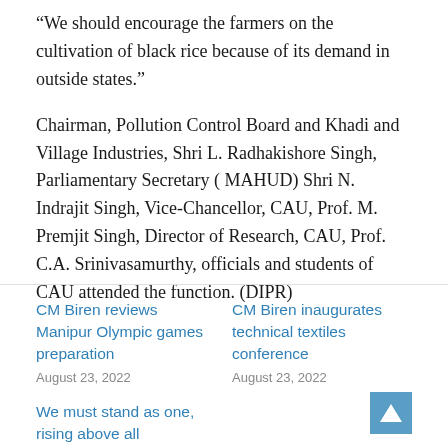“We should encourage the farmers on the cultivation of black rice because of its demand in outside states.”
Chairman, Pollution Control Board and Khadi and Village Industries, Shri L. Radhakishore Singh, Parliamentary Secretary ( MAHUD) Shri N. Indrajit Singh, Vice-Chancellor, CAU, Prof. M. Premjit Singh, Director of Research, CAU, Prof. C.A. Srinivasamurthy, officials and students of CAU attended the function. (DIPR)
CM Biren reviews Manipur Olympic games preparation
August 23, 2022
CM Biren inaugurates technical textiles conference
August 23, 2022
We must stand as one, rising above all differences: Biren
August 12, 2022